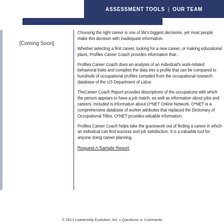Assessment Tools | Our Team
[Coming Soon]
Choosing the right career is one of life's biggest decisions, yet most people make this decision with inadequate information.
Whether selecting a first career, looking for a new career, or making educational plans, Profiles Career Coach provides information that...
Profiles Career Coach does an analysis of an individual's work-related behavioral traits and compiles the data into a profile that can be compared to hundreds of occupational profiles compiled from the occupational research database of the US Depa...
TheCareer Coach Report provides descriptions of the occupations with which the person appears to have a job match, as well as information about jobs and careers. Included is information about O*NET Online Network. O*NET is a comprehensive database of worker... replaced the Dictionary of Occupational Titles. O*NE... information.
Profiles Career Coach helps take the guesswork ou... career in which an individual can find success and j... valuable tool for anyone doing career planning.
Request A Sample Report
© 2011 Leadership Evolution, Inc. • Questions or Comments